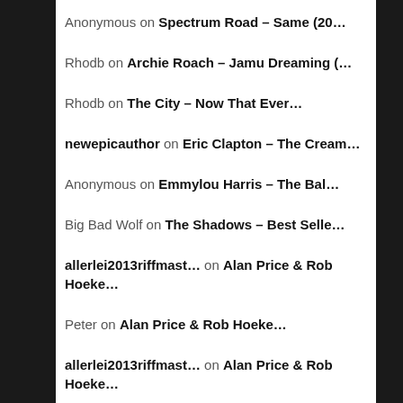Anonymous on Spectrum Road – Same (20…
Rhodb on Archie Roach – Jamu Dreaming (…
Rhodb on The City – Now That Ever…
newepicauthor on Eric Clapton – The Cream…
Anonymous on Emmylou Harris – The Bal…
Big Bad Wolf on The Shadows – Best Selle…
allerlei2013riffmast… on Alan Price & Rob Hoeke…
Peter on Alan Price & Rob Hoeke…
allerlei2013riffmast… on Alan Price & Rob Hoeke…